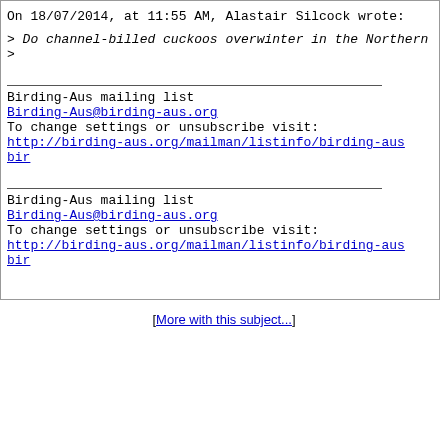On 18/07/2014, at 11:55 AM, Alastair Silcock wrote:
> Do channel-billed cuckoos overwinter in the Northern
>
Birding-Aus mailing list
Birding-Aus@birding-aus.org
To change settings or unsubscribe visit:
http://birding-aus.org/mailman/listinfo/birding-aus bir
Birding-Aus mailing list
Birding-Aus@birding-aus.org
To change settings or unsubscribe visit:
http://birding-aus.org/mailman/listinfo/birding-aus bir
[More with this subject...]
| <Prev in Thread] | Current Thread | [Next in Thread> |
| --- | --- | --- |
| Channel-billed cuckoos overwinter?, Alastair Silcock
  Channel-billed cuckoos overwinter?, Andrew Taylor
  Channel-billed cuckoos overwinter?, Denise Goodfellow |